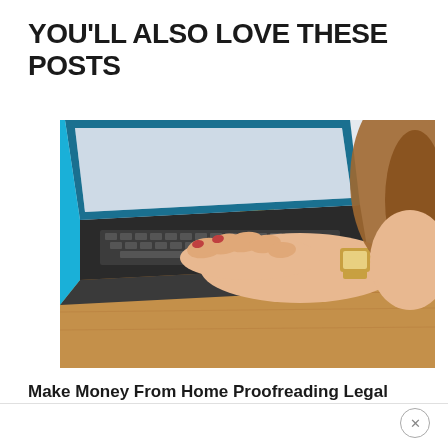YOU'LL ALSO LOVE THESE POSTS
[Figure (photo): Woman typing on a laptop at a wooden desk with a glass of orange juice with a straw in the background; she is wearing a gold watch and has manicured red nails.]
Make Money From Home Proofreading Legal Transcripts